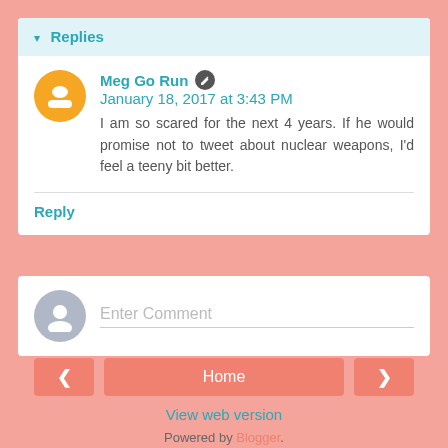▾ Replies
Meg Go Run  January 18, 2017 at 3:43 PM
I am so scared for the next 4 years. If he would promise not to tweet about nuclear weapons, I'd feel a teeny bit better.
Reply
Enter Comment
Home
View web version
Powered by Blogger.